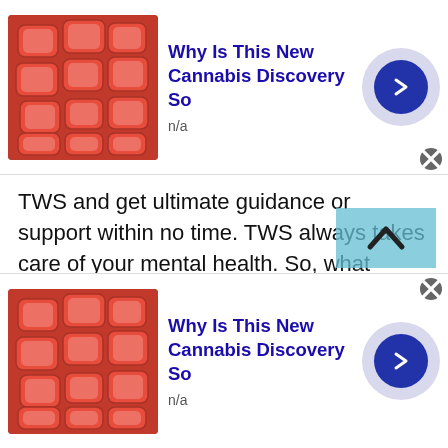[Figure (infographic): Top advertisement banner: red candy/gummy image on left, bold blue title 'Why Is This New Cannabis Discovery So' with 'n/a' subtitle, navy blue arrow circle button on right with close X button]
TWS and get ultimate guidance or support within no time. TWS always takes care of your mental health. So, what would you prefer: free online therapy or paid therapist?
Well, TWS free chat random rooms are always the wise choice to get real-life solutions. We recommend you to go with free online therapy as it is far more convenient than visiting a therapist. In fact, during this pandemic, feel free to join the free chat at TWS and start talking to strangers online by
[Figure (infographic): Scroll-to-top button: teal/cyan semi-transparent box with upward chevron arrow icon]
[Figure (infographic): Bottom advertisement banner: red candy/gummy image on left, bold blue title 'Why Is This New Cannabis Discovery So' with 'n/a' subtitle, navy blue arrow circle button on right with close X button]